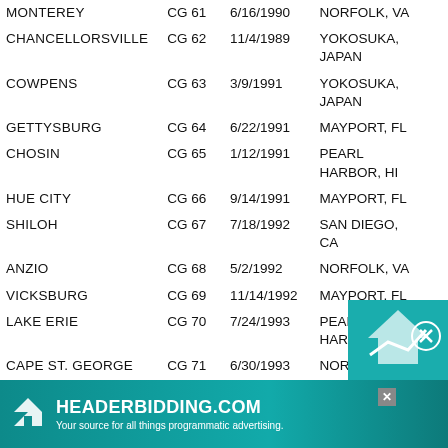| Name | Hull | Date | Homeport |
| --- | --- | --- | --- |
| MONTEREY | CG 61 | 6/16/1990 | NORFOLK, VA |
| CHANCELLORSVILLE | CG 62 | 11/4/1989 | YOKOSUKA, JAPAN |
| COWPENS | CG 63 | 3/9/1991 | YOKOSUKA, JAPAN |
| GETTYSBURG | CG 64 | 6/22/1991 | MAYPORT, FL |
| CHOSIN | CG 65 | 1/12/1991 | PEARL HARBOR, HI |
| HUE CITY | CG 66 | 9/14/1991 | MAYPORT, FL |
| SHILOH | CG 67 | 7/18/1992 | SAN DIEGO, CA |
| ANZIO | CG 68 | 5/2/1992 | NORFOLK, VA |
| VICKSBURG | CG 69 | 11/14/1992 | MAYPORT, FL |
| LAKE ERIE | CG 70 | 7/24/1993 | PEARL HARBOR, HI |
| CAPE ST. GEORGE | CG 71 | 6/30/1993 | NORFOLK, VA |
| VELLA GULF | CG 72 | 9/18/1993 | NORFOLK, VA |
| PORT ROYAL | CG 73 | 7/4/1994 | PEARL HARBOR, HI |
| KITTY... | ... | ... | ... |
| ACU... | ... | ... | ... |